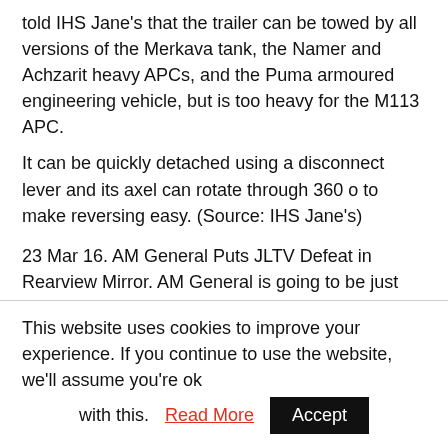told IHS Jane's that the trailer can be towed by all versions of the Merkava tank, the Namer and Achzarit heavy APCs, and the Puma armoured engineering vehicle, but is too heavy for the M113 APC. It can be quickly detached using a disconnect lever and its axel can rotate through 360 o to make reversing easy. (Source: IHS Jane's)
23 Mar 16. AM General Puts JLTV Defeat in Rearview Mirror. AM General is going to be just fine. Thanks for the concern. That sums up the attitude of the South Bend,
This website uses cookies to improve your experience. If you continue to use the website, we'll assume you're ok with this. Read More Accept